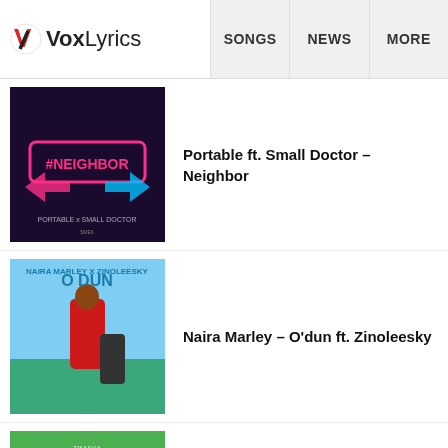VoxLyrics | SONGS | NEWS | MORE
[Figure (screenshot): Album art for Portable ft. Small Doctor – Neighbor, dark purple background with neon #NEIGHBOR sign]
Portable ft. Small Doctor – Neighbor
[Figure (screenshot): Album art for Naira Marley – O'dun ft. Zinoleesky, blue sky background with red-suited figure]
Naira Marley – O'dun ft. Zinoleesky
[Figure (screenshot): Album art for Timaya – Charger, green background with electric charger plug]
Timaya – Charger
See all latest songs »
[Figure (screenshot): Social share bar with Facebook, Twitter, Messenger, and share icons]
MORE
Victor Ad